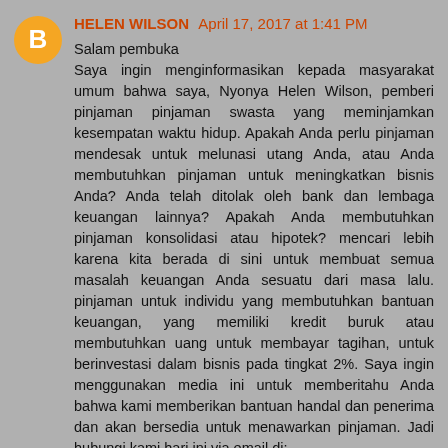HELEN WILSON April 17, 2017 at 1:41 PM
Salam pembuka
Saya ingin menginformasikan kepada masyarakat umum bahwa saya, Nyonya Helen Wilson, pemberi pinjaman pinjaman swasta yang meminjamkan kesempatan waktu hidup. Apakah Anda perlu pinjaman mendesak untuk melunasi utang Anda, atau Anda membutuhkan pinjaman untuk meningkatkan bisnis Anda? Anda telah ditolak oleh bank dan lembaga keuangan lainnya? Apakah Anda membutuhkan pinjaman konsolidasi atau hipotek? mencari lebih karena kita berada di sini untuk membuat semua masalah keuangan Anda sesuatu dari masa lalu. pinjaman untuk individu yang membutuhkan bantuan keuangan, yang memiliki kredit buruk atau membutuhkan uang untuk membayar tagihan, untuk berinvestasi dalam bisnis pada tingkat 2%. Saya ingin menggunakan media ini untuk memberitahu Anda bahwa kami memberikan bantuan handal dan penerima dan akan bersedia untuk menawarkan pinjaman. Jadi hubungi kami hari ini via email di:
(helenwilson719@gmail.com)  Jadi, jika Anda ingin